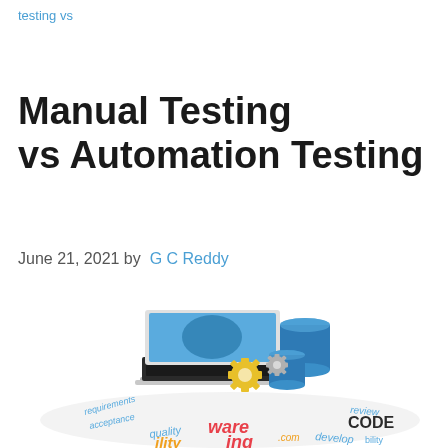testing vs
Manual Testing vs Automation Testing
June 21, 2021 by  G C Reddy
[Figure (illustration): 3D illustration of a laptop with blue database cylinders, yellow gear icons, and a word cloud on the floor containing software testing-related terms like requirements, acceptance, quality, software, review, CODE, develop in various colors (blue, yellow, red, orange).]